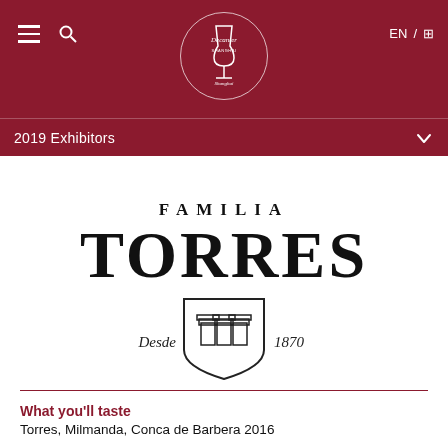EN / [icon]
[Figure (logo): Decanter Shanghai logo in white circle on dark red header bar]
2019 Exhibitors
[Figure (logo): Familia Torres logo with coat of arms shield showing three towers, text 'Desde 1870']
What you'll taste
Torres, Milmanda, Conca de Barbera 2016